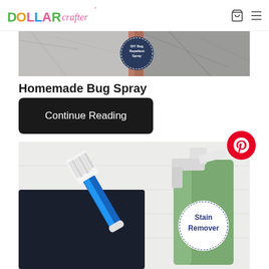DOLLAR Crafter
[Figure (photo): Close-up of DIY Bug Repellent Spray product with marble-like background and a round label]
Homemade Bug Spray
Continue Reading
[Figure (photo): Stain Remover spray bottle with green liquid and round label next to a dark cloth being scrubbed with a blue dish brush on a white wooden surface, with Pinterest button overlay]